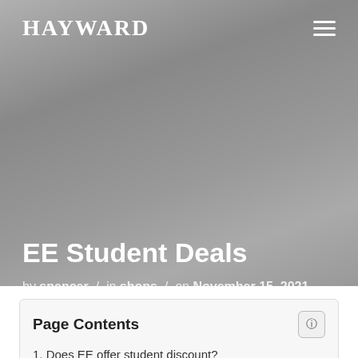HAYWARD
EE Student Deals
by spencer / in shops / on November 15, 2021
Page Contents
1. Does EE offer student discount?